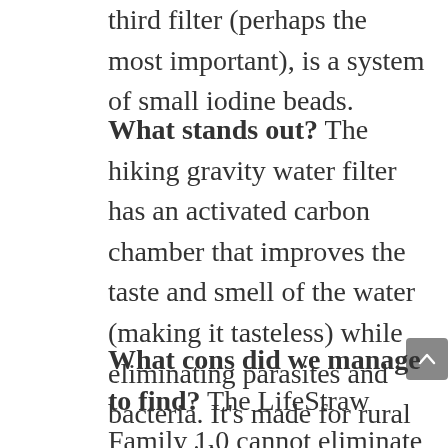third filter (perhaps the most important), is a system of small iodine beads.
What stands out? The hiking gravity water filter has an activated carbon chamber that improves the taste and smell of the water (making it tasteless) while eliminating parasites and bacteria. It's made for rural areas with no access to clean water.
What cons did we manage to find? The LifeStraw Family 1.0 cannot eliminate heavy metals and chemicals.